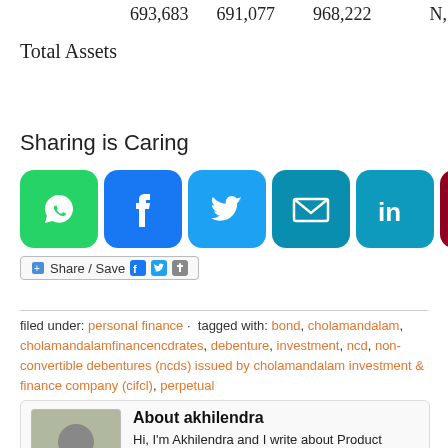693,683   691,077   968,222   N,..
Total Assets
Sharing is Caring
[Figure (infographic): Social sharing buttons: WhatsApp (green), Facebook (blue), Twitter (light blue), Email (teal), LinkedIn (teal), Pinterest (dark red)]
Share / Save
filed under: personal finance · tagged with: bond, cholamandalam, cholamandalamfinancencdrates, debenture, investment, ncd, non-convertible debentures (ncds) issued by cholamandalam investment & finance company (cifcl), perpetual
About akhilendra
Hi, I'm Akhilendra and I write about Product management, Business Analysis, Data Science, IT & Web. Join me on Twitter, Facebook & Linkedin